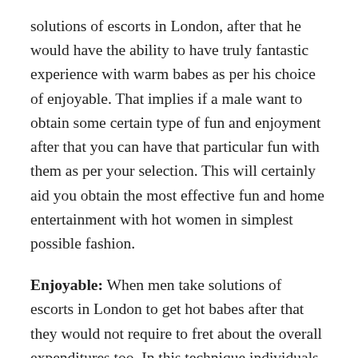solutions of escorts in London, after that he would have the ability to have truly fantastic experience with warm babes as per his choice of enjoyable. That implies if a male want to obtain some certain type of fun and enjoyment after that you can have that particular fun with them as per your selection. This will certainly aid you obtain the most effective fun and home entertainment with hot women in simplest possible fashion.
Enjoyable: When men take solutions of escorts in London to get hot babes after that they would not require to fret about the overall expenditures too. In this technique individuals will have the ability to have really fantastic satisfaction and also enjoyable with hot women in easy methods. This will be undoubtedly the best means of having fun with warm ladies in really budget-friendly manner. That implies when you will take the services of escorts in London after that you will obtain really